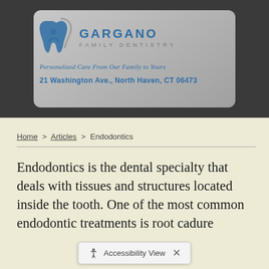[Figure (logo): Gargano Family Dentistry logo with tooth icon, practice name, tagline 'Personalized Care From Our Family to Yours', and address '21 Washington Ave., North Haven, CT 06473']
Home > Articles > Endodontics
Endodontics is the dental specialty that deals with tissues and structures located inside the tooth. One of the most common endodontic treatments is root ca...dure